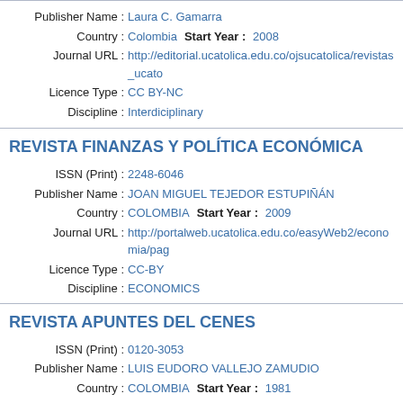Publisher Name : Laura C. Gamarra
Country : Colombia   Start Year : 2008
Journal URL : http://editorial.ucatolica.edu.co/ojsucatolica/revistas_ucatolica/
Licence Type : CC BY-NC
Discipline : Interdiciplinary
REVISTA FINANZAS Y POLÍTICA ECONÓMICA
ISSN (Print) : 2248-6046
Publisher Name : JOAN MIGUEL TEJEDOR ESTUPIÑÁN
Country : COLOMBIA   Start Year : 2009
Journal URL : http://portalweb.ucatolica.edu.co/easyWeb2/economia/pa
Licence Type : CC-BY
Discipline : ECONOMICS
REVISTA APUNTES DEL CENES
ISSN (Print) : 0120-3053
Publisher Name : LUIS EUDORO VALLEJO ZAMUDIO
Country : COLOMBIA   Start Year : 1981
Journal URL : http://virtual.uptc.edu.co/revistas/index.php/cenes
Licence Type : CC-BY
Discipline : ECONOMICS